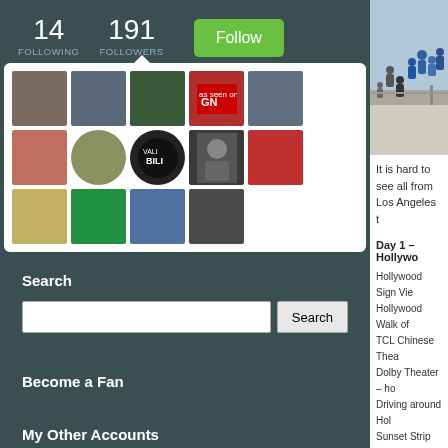14 FOLLOWING  191 FOLLOWERS
[Figure (photo): Grid of follower avatar thumbnails in a white popup box]
Search
Search button and input field
Become a Fan
My Other Accounts
Blogger   losangelestours.blogspot.com
[Figure (photo): Aerial photo of people on steps/plaza]
It is hard to see all from Los Angeles t
Day 1 – Hollywo
Hollywood Sign Vie
Hollywood Walk of
TCL Chinese Thea
Dolby Theater – ho
Driving around Hol
Sunset Strip (drive
Farmers Market an
Beverly Hills Rode
Beverly Wilshire Ho
Beverly Hills hotel
Last home of Micha
Playboy Mansion a